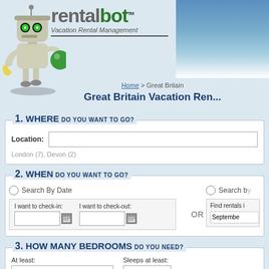[Figure (logo): RentalBot logo with robot mascot holding banana and green ball, text reads 'RENTALbot Vacation Rental Management']
[Figure (photo): Sky photo background in top right corner]
Home > Great Britain
Great Britain Vacation Rentals
1. WHERE DO YOU WANT TO GO?
Location:
London (7), Devon (2)
2. WHEN DO YOU WANT TO GO?
Search By Date
I want to check-in:
I want to check-out:
OR
Search by
Find rentals in September
3. HOW MANY BEDROOMS DO YOU NEED?
At least:
1 Bedroom
Sleeps at least:
1
4. HOW MUCH...